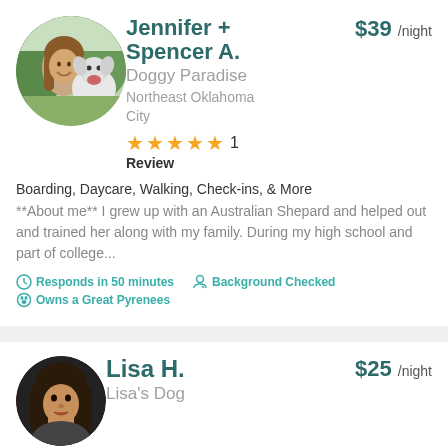[Figure (photo): Circular profile photo of Jennifer and Spencer A. with a large white dog outdoors]
Jennifer + Spencer A.
$39 /night
Doggy Paradise
Northeast Oklahoma City
[Figure (infographic): 5 gold stars rating with '1' next to them]
Review
Boarding, Daycare, Walking, Check-ins, & More
**About me** I grew up with an Australian Shepard and helped out and trained her along with my family. During my high school and part of college...
Responds in 50 minutes   Background Checked
Owns a Great Pyrenees
[Figure (photo): Circular profile photo of Lisa H., a woman with long hair]
Lisa H.
$25 /night
Lisa's Dog